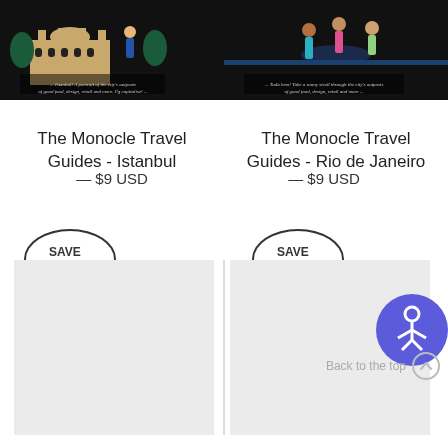[Figure (illustration): Book cover for The Monocle Travel Guides - Istanbul, black background with illustrated figures near a mosque]
[Figure (illustration): Book cover for The Monocle Travel Guides - Rio de Janeiro, black background with illustrated figures on beach]
The Monocle Travel Guides - Istanbul
— $9 USD
The Monocle Travel Guides - Rio de Janeiro
— $9 USD
SAVE $9 USD
SAVE $9 USD
[Figure (illustration): Accessibility/person icon button (blue circle with white figure)]
Back to the top